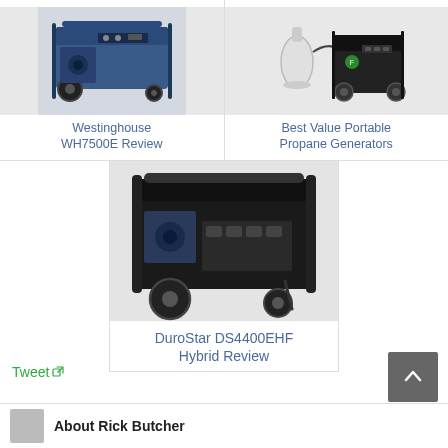[Figure (photo): Westinghouse WH7500E generator product photo]
Westinghouse WH7500E Review
[Figure (photo): Best Value Portable Propane Generator product photo with propane tank]
Best Value Portable Propane Generators
[Figure (photo): DuroStar DS4400EHF Hybrid generator product photo]
DuroStar DS4400EHF Hybrid Review
Tweet
About Rick Butcher